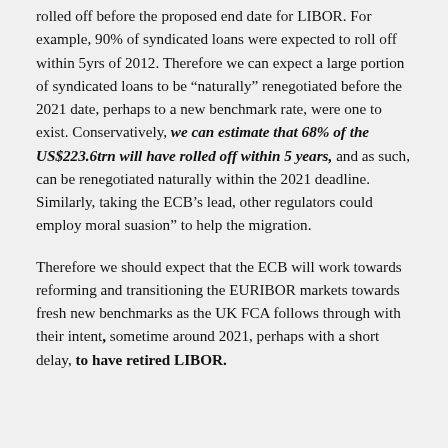rolled off before the proposed end date for LIBOR. For example, 90% of syndicated loans were expected to roll off within 5yrs of 2012. Therefore we can expect a large portion of syndicated loans to be “naturally” renegotiated before the 2021 date, perhaps to a new benchmark rate, were one to exist. Conservatively, we can estimate that 68% of the US$223.6trn will have rolled off within 5 years, and as such, can be renegotiated naturally within the 2021 deadline. Similarly, taking the ECB’s lead, other regulators could employ moral suasion” to help the migration.
Therefore we should expect that the ECB will work towards reforming and transitioning the EURIBOR markets towards fresh new benchmarks as the UK FCA follows through with their intent, sometime around 2021, perhaps with a short delay, to have retired LIBOR.